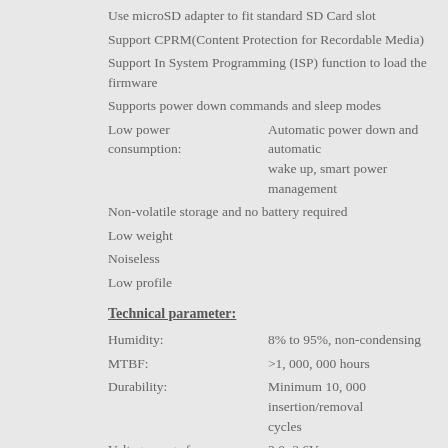Use microSD adapter to fit standard SD Card slot
Support CPRM(Content Protection for Recordable Media)
Support In System Programming (ISP) function to load the firmware
Supports power down commands and sleep modes
Low power consumption:    Automatic power down and automatic wake up, smart power management
Non-volatile storage and no battery required
Low weight
Noiseless
Low profile
Technical parameter:
Humidity:    8% to 95%, non-condensing
MTBF:    >1, 000, 000 hours
Durability:    Minimum 10, 000 insertion/removal cycles
Voltage range for    2.0~3.6V